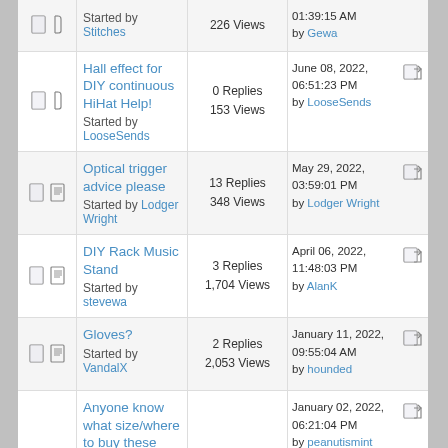Started by Stitches | 226 Views | 01:39:15 AM by Gewa
Hall effect for DIY continuous HiHat Help! Started by LooseSends | 0 Replies 153 Views | June 08, 2022, 06:51:23 PM by LooseSends
Optical trigger advice please Started by Lodger Wright | 13 Replies 348 Views | May 29, 2022, 03:59:01 PM by Lodger Wright
DIY Rack Music Stand Started by stevewa | 3 Replies 1,704 Views | April 06, 2022, 11:48:03 PM by AlanK
Gloves? Started by VandalX | 2 Replies 2,053 Views | January 11, 2022, 09:55:04 AM by hounded
Anyone know what size/where to buy these screws/nuts with a drum key head? Started by peanutismint | 3 Replies 271 Views | January 02, 2022, 06:21:04 PM by peanutismint